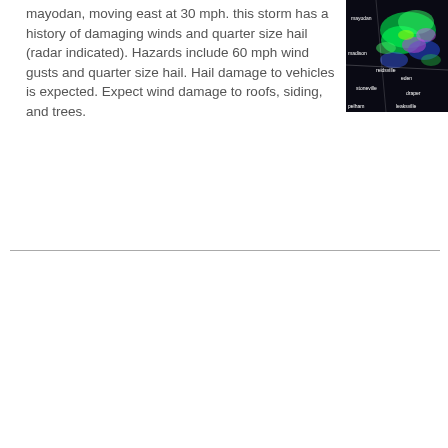mayodan, moving east at 30 mph. this storm has a history of damaging winds and quarter size hail (radar indicated). Hazards include 60 mph wind gusts and quarter size hail. Hail damage to vehicles is expected. Expect wind damage to roofs, siding, and trees.
[Figure (other): Radar image showing storm system, dark background with colorful (green, blue, purple) radar returns indicating precipitation, with white location labels]